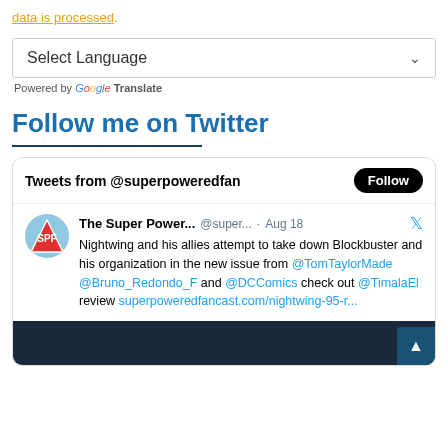data is processed.
[Figure (screenshot): Select Language dropdown box]
Powered by Google Translate
Follow me on Twitter
[Figure (screenshot): Twitter widget showing Tweets from @superpoweredfan with a Follow button and a tweet from The Super Power... @super... · Aug 18 about Nightwing and his allies attempting to take down Blockbuster, mentioning @TomTaylorMade @Bruno_Redondo_F and @DCComics, with a link to superpoweredfancast.com/nightwing-95-r...]